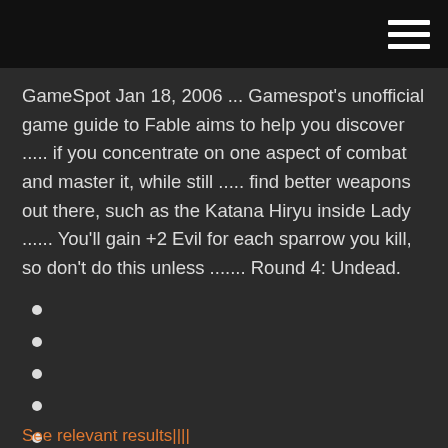GameSpot Jan 18, 2006 ... Gamespot's unofficial game guide to Fable aims to help you discover ..... if you concentrate on one aspect of combat and master it, while still ..... find better weapons out there, such as the Katana Hiryu inside Lady ...... You'll gain +2 Evil for each sparrow you kill, so don't do this unless ....... Round 4: Undead.